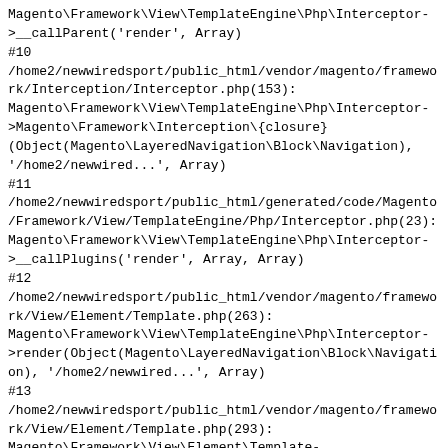Magento\Framework\View\TemplateEngine\Php\Interceptor->__callParent('render', Array)
#10
/home2/newwiredsport/public_html/vendor/magento/framework/Interception/Interceptor.php(153):
Magento\Framework\View\TemplateEngine\Php\Interceptor->Magento\Framework\Interception\{closure}
(Object(Magento\LayeredNavigation\Block\Navigation),
'/home2/newwired...', Array)
#11
/home2/newwiredsport/public_html/generated/code/Magento/Framework/View/TemplateEngine/Php/Interceptor.php(23):
Magento\Framework\View\TemplateEngine\Php\Interceptor->__callPlugins('render', Array, Array)
#12
/home2/newwiredsport/public_html/vendor/magento/framework/View/Element/Template.php(263):
Magento\Framework\View\TemplateEngine\Php\Interceptor->render(Object(Magento\LayeredNavigation\Block\Navigation), '/home2/newwired...', Array)
#13
/home2/newwiredsport/public_html/vendor/magento/framework/View/Element/Template.php(293):
Magento\Framework\View\Element\Template->fetchView('/home2/newwired...')
#14
/home2/newwiredsport/public_html/vendor/magento/framework/View/Element/AbstractBlock.php(1095):
Magento\Framework\View\Element\Template->_toHtml()
#15